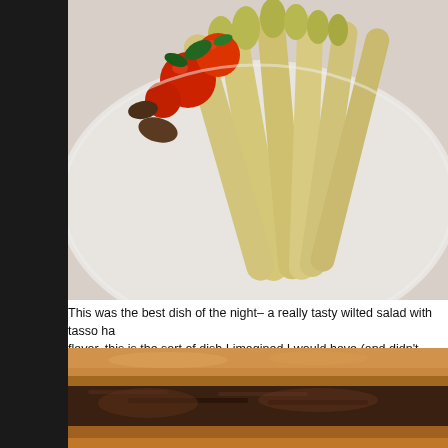[Figure (photo): Close-up photo of a plated wilted salad dish on a white plate with roasted cherry tomatoes, asparagus spears, and green herbs/vegetables]
This was the best dish of the night– a really tasty wilted salad with tasso ha... flavor, this is the sort of dish I imagined I would have (and didn't, really) whe...
[Figure (photo): Close-up photo of what appears to be a braised meat sandwich or po'boy with dark braised filling between bread rolls]